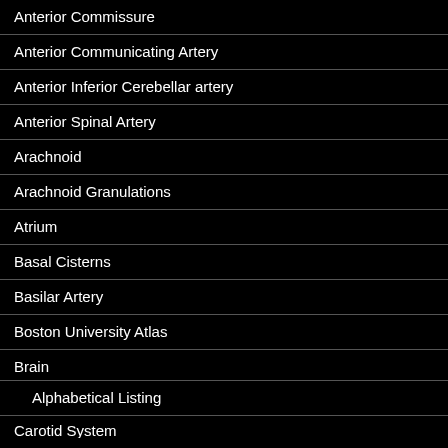Anterior Commissure
Anterior Communicating Artery
Anterior Inferior Cerebellar artery
Anterior Spinal Artery
Arachnoid
Arachnoid Granulations
Atrium
Basal Cisterns
Basilar Artery
Boston University Atlas
Brain
Alphabetical Listing
Carotid System